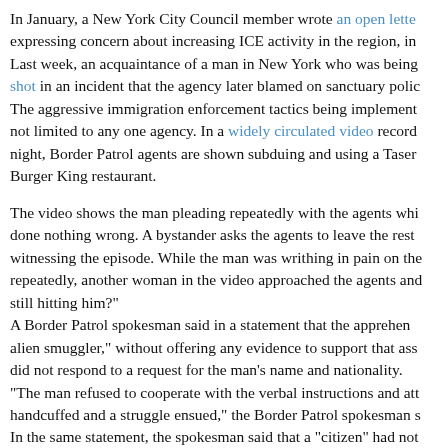In January, a New York City Council member wrote an open letter expressing concern about increasing ICE activity in the region, in Last week, an acquaintance of a man in New York who was being shot in an incident that the agency later blamed on sanctuary polic The aggressive immigration enforcement tactics being implement not limited to any one agency. In a widely circulated video record night, Border Patrol agents are shown subduing and using a Taser Burger King restaurant.
The video shows the man pleading repeatedly with the agents whi done nothing wrong. A bystander asks the agents to leave the rest witnessing the episode. While the man was writhing in pain on the repeatedly, another woman in the video approached the agents and still hitting him?" A Border Patrol spokesman said in a statement that the apprehen alien smuggler," without offering any evidence to support that ass did not respond to a request for the man's name and nationality. "The man refused to cooperate with the verbal instructions and att handcuffed and a struggle ensued," the Border Patrol spokesman s In the same statement, the spokesman said that a "citizen" had no a suspicious vehicle parked on his property. The Border Patrol sai the agents on Tuesday was the driver of the vehicle and that "reco the man was in the country illegally and had a positive criminal hi